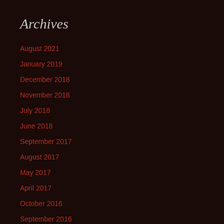Archives
August 2021
January 2019
December 2018
November 2018
July 2018
June 2018
September 2017
August 2017
May 2017
April 2017
October 2016
September 2016
August 2016